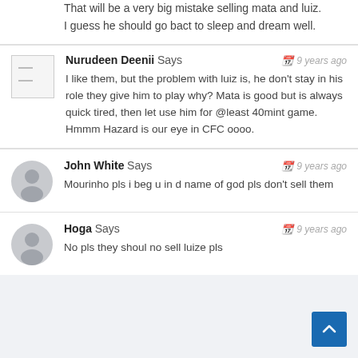That will be a very big mistake selling mata and luiz. I guess he should go bact to sleep and dream well.
Nurudeen Deenii Says — 9 years ago
I like them, but the problem with luiz is, he don't stay in his role they give him to play why? Mata is good but is always quick tired, then let use him for @least 40mint game. Hmmm Hazard is our eye in CFC oooo.
John White Says — 9 years ago
Mourinho pls i beg u in d name of god pls don't sell them
Hoga Says — 9 years ago
No pls they shoul no sell luize pls